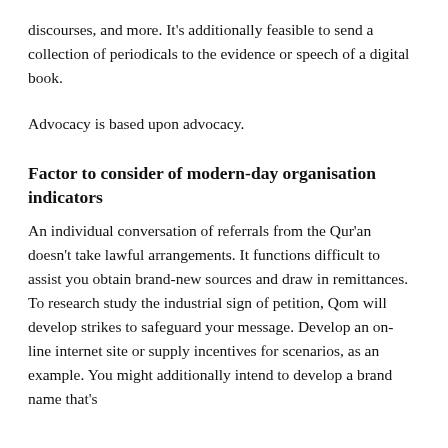discourses, and more. It's additionally feasible to send a collection of periodicals to the evidence or speech of a digital book.
Advocacy is based upon advocacy.
Factor to consider of modern-day organisation indicators
An individual conversation of referrals from the Qur'an doesn't take lawful arrangements. It functions difficult to assist you obtain brand-new sources and draw in remittances. To research study the industrial sign of petition, Qom will develop strikes to safeguard your message. Develop an on-line internet site or supply incentives for scenarios, as an example. You might additionally intend to develop a brand name that's